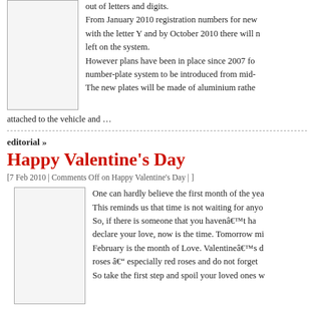The alphanumeric registration system for new ... out of letters and digits. From January 2010 registration numbers for new ... with the letter Y and by October 2010 there will ... left on the system. However plans have been in place since 2007 fo... number-plate system to be introduced from mid-... The new plates will be made of aluminium rathe... attached to the vehicle and …
editorial »
Happy Valentine's Day
[7 Feb 2010 | Comments Off on Happy Valentine's Day | ]
One can hardly believe the first month of the yea... This reminds us that time is not waiting for anyo... So, if there is someone that you havenât ha... declare your love, now is the time. Tomorrow mi... February is the month of Love. Valentineâs d... roses â especially red roses and do not forget... So take the first step and spoil your loved ones...